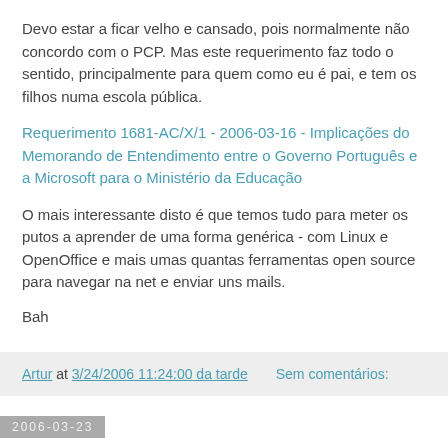Devo estar a ficar velho e cansado, pois normalmente não concordo com o PCP. Mas este requerimento faz todo o sentido, principalmente para quem como eu é pai, e tem os filhos numa escola pública.
Requerimento 1681-AC/X/1 - 2006-03-16 - Implicações do Memorando de Entendimento entre o Governo Português e a Microsoft para o Ministério da Educação
O mais interessante disto é que temos tudo para meter os putos a aprender de uma forma genérica - com Linux e OpenOffice e mais umas quantas ferramentas open source para navegar na net e enviar uns mails.
Bah
Artur at 3/24/2006 11:24:00 da tarde   Sem comentários:
2006-03-23